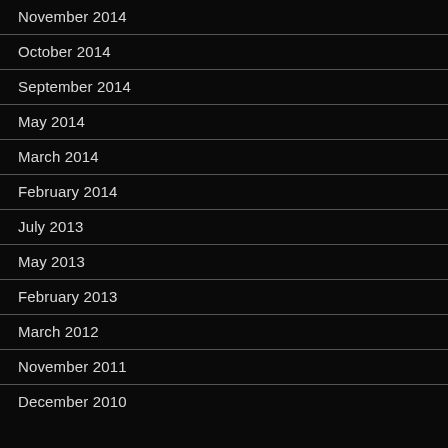November 2014
October 2014
September 2014
May 2014
March 2014
February 2014
July 2013
May 2013
February 2013
March 2012
November 2011
December 2010